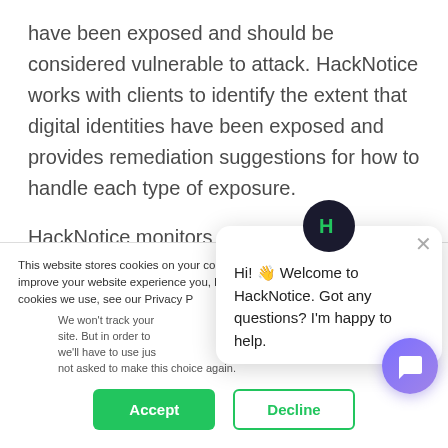have been exposed and should be considered vulnerable to attack. HackNotice works with clients to identify the extent that digital identities have been exposed and provides remediation suggestions for how to handle each type of exposure.
HackNotice monitors the hacker community, which is a network of individuals that portion data breaches,
This website stores cookies on your computer. These are used to improve your website experience you, both on this website and through cookies we use, see our Privacy P
We won't track your site. But in order to we'll have to use jus not asked to make this choice again.
Accept
Decline
[Figure (screenshot): HackNotice chat popup widget with logo and greeting: Hi! Welcome to HackNotice. Got any questions? I'm happy to help.]
[Figure (illustration): Purple chat bubble button in bottom right corner]